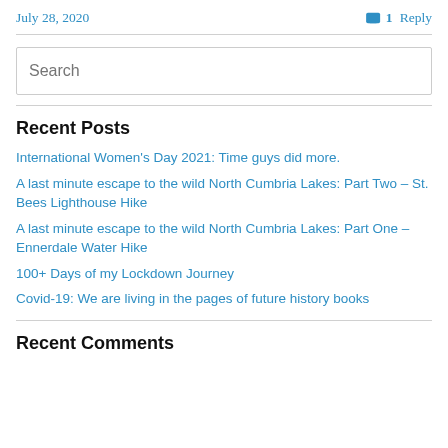July 28, 2020   1 Reply
Recent Posts
International Women's Day 2021: Time guys did more.
A last minute escape to the wild North Cumbria Lakes: Part Two – St. Bees Lighthouse Hike
A last minute escape to the wild North Cumbria Lakes: Part One – Ennerdale Water Hike
100+ Days of my Lockdown Journey
Covid-19: We are living in the pages of future history books
Recent Comments